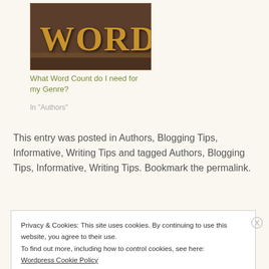[Figure (photo): Image of wooden letter blocks spelling WORDS in bold orange-brown lettering against a dark wood background]
What Word Count do I need for my Genre?
In "Authors"
This entry was posted in Authors, Blogging Tips, Informative, Writing Tips and tagged Authors, Blogging Tips, Informative, Writing Tips. Bookmark the permalink.
Privacy & Cookies: This site uses cookies. By continuing to use this website, you agree to their use.
To find out more, including how to control cookies, see here:
Wordpress Cookie Policy
CLOSE & ACCEPT